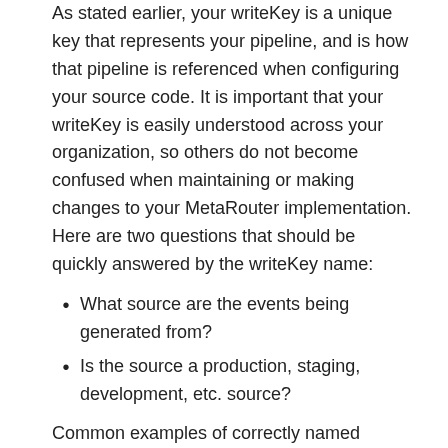As stated earlier, your writeKey is a unique key that represents your pipeline, and is how that pipeline is referenced when configuring your source code. It is important that your writeKey is easily understood across your organization, so others do not become confused when maintaining or making changes to your MetaRouter implementation. Here are two questions that should be quickly answered by the writeKey name:
What source are the events being generated from?
Is the source a production, staging, development, etc. source?
Common examples of correctly named writeKeys include:
prod_web
staging_ios
dev_java
Your organization may require additional writeKey best practices if you implement many sources. For more help